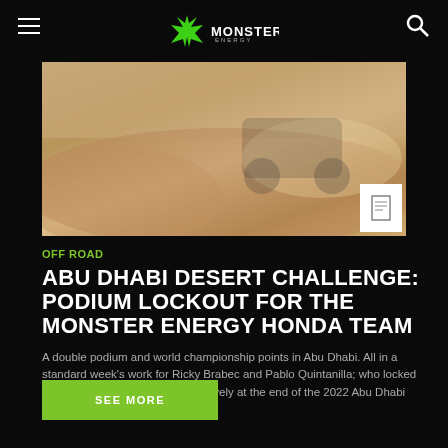Monster Energy
[Figure (photo): Motorcycle rider on sandy desert terrain kicking up dust, with a small image/document icon overlay in the bottom right corner]
OFF ROAD
ABU DHABI DESERT CHALLENGE: PODIUM LOCKOUT FOR THE MONSTER ENERGY HONDA TEAM
A double podium and world championship points in Abu Dhabi. All in a standard week's work for Ricky Brabec and Pablo Quintanilla; who locked in second and third place respectively at the end of the 2022 Abu Dhabi Desert Challenge.
SEE MORE